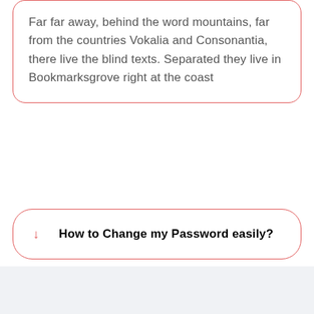Far far away, behind the word mountains, far from the countries Vokalia and Consonantia, there live the blind texts. Separated they live in Bookmarksgrove right at the coast
How to Change my Password easily?
How to Change my Subscription Plan using PayPal